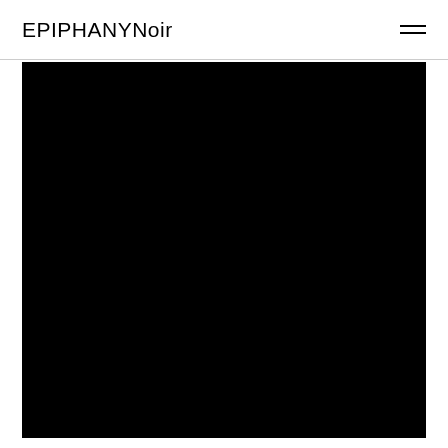EPIPHANYNoir
[Figure (photo): Large solid black rectangular image filling the majority of the page below the header]